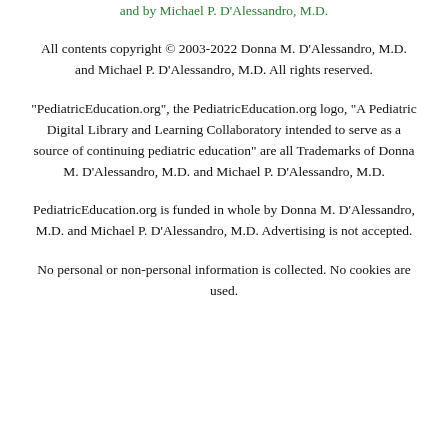and by Michael P. D'Alessandro, M.D.
All contents copyright © 2003-2022 Donna M. D'Alessandro, M.D. and Michael P. D'Alessandro, M.D. All rights reserved.
"PediatricEducation.org", the PediatricEducation.org logo, "A Pediatric Digital Library and Learning Collaboratory intended to serve as a source of continuing pediatric education" are all Trademarks of Donna M. D'Alessandro, M.D. and Michael P. D'Alessandro, M.D.
PediatricEducation.org is funded in whole by Donna M. D'Alessandro, M.D. and Michael P. D'Alessandro, M.D. Advertising is not accepted.
No personal or non-personal information is collected. No cookies are used.